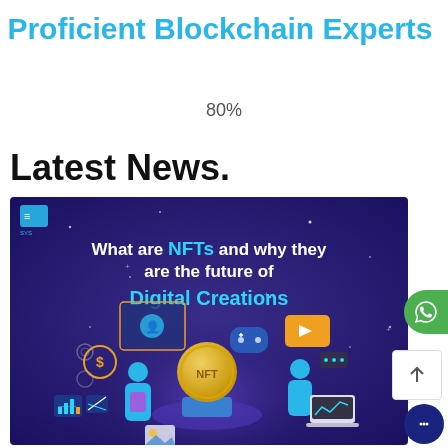Proficient Blockchain Experts
80%
Latest News.
[Figure (illustration): Promotional banner with dark blue/purple gradient background. Text reads 'What are NFTs and why they are the future of Digital Creations'. Illustrated characters interact with digital assets including an NFT coin, screens, game controller, video player, dollar sign, and chart icons. Small logo in top-left corner.]